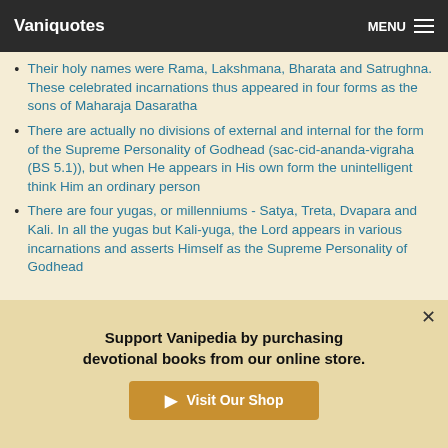Vaniquotes   MENU
Their holy names were Rama, Lakshmana, Bharata and Satrughna. These celebrated incarnations thus appeared in four forms as the sons of Maharaja Dasaratha
There are actually no divisions of external and internal for the form of the Supreme Personality of Godhead (sac-cid-ananda-vigraha (BS 5.1)), but when He appears in His own form the unintelligent think Him an ordinary person
There are four yugas, or millenniums - Satya, Treta, Dvapara and Kali. In all the yugas but Kali-yuga, the Lord appears in various incarnations and asserts Himself as the Supreme Personality of Godhead
Support Vanipedia by purchasing devotional books from our online store.
Visit Our Shop